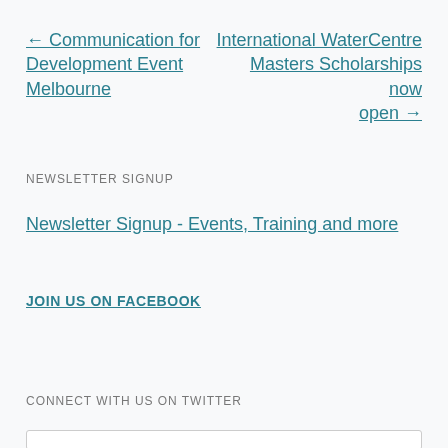← Communication for Development Event Melbourne
International WaterCentre Masters Scholarships now open →
NEWSLETTER SIGNUP
Newsletter Signup - Events, Training and more
JOIN US ON FACEBOOK
CONNECT WITH US ON TWITTER